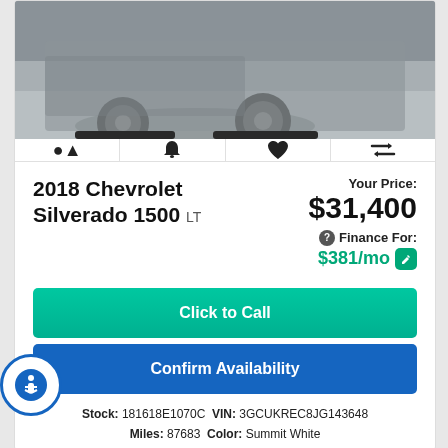[Figure (photo): Partial photo of a Chevrolet Silverado truck, showing the lower body, wheels, and pavement below]
🔔  ♥  ⇄ (icon bar with bell, heart, and compare icons)
2018 Chevrolet Silverado 1500 LT
Your Price: $31,400
Finance For: $381/mo
Click to Call
Confirm Availability
Stock: 181618E1070C VIN: 3GCUKREC8JG143648 Miles: 87683 Color: Summit White